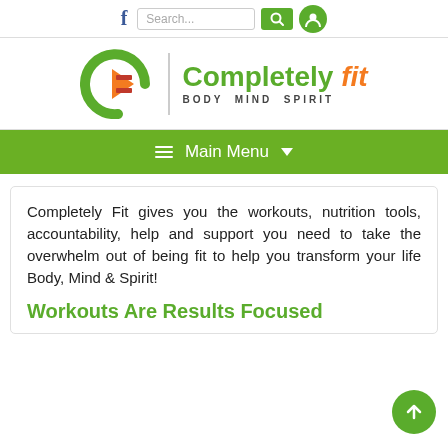f  Search...  [search button]  [user icon]
[Figure (logo): Completely Fit logo with green circular emblem, vertical divider, and text 'Completely fit BODY MIND SPIRIT']
≡ Main Menu ▾
Completely Fit gives you the workouts, nutrition tools, accountability, help and support you need to take the overwhelm out of being fit to help you transform your life Body, Mind & Spirit!
Workouts Are Results Focused